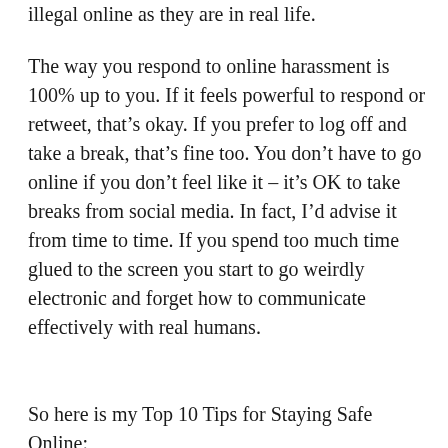illegal online as they are in real life.
The way you respond to online harassment is 100% up to you. If it feels powerful to respond or retweet, that’s okay. If you prefer to log off and take a break, that’s fine too. You don’t have to go online if you don’t feel like it – it’s OK to take breaks from social media. In fact, I’d advise it from time to time. If you spend too much time glued to the screen you start to go weirdly electronic and forget how to communicate effectively with real humans.
So here is my Top 10 Tips for Staying Safe Online: